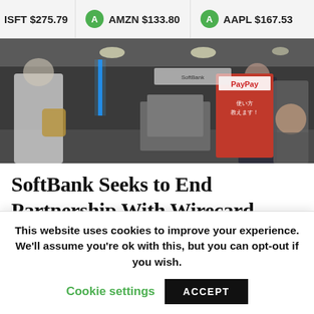ISFT $275.79   A AMZN $133.80   A AAPL $167.53
[Figure (photo): Street view of a SoftBank / PayPay store interior with people walking past, signs in Japanese]
SoftBank Seeks to End Partnership With Wirecard
SoftBank Group Corp. is looking to distance itself from Wirecard AG, after the Japanese
This website uses cookies to improve your experience. We'll assume you're ok with this, but you can opt-out if you wish.
Cookie settings   ACCEPT